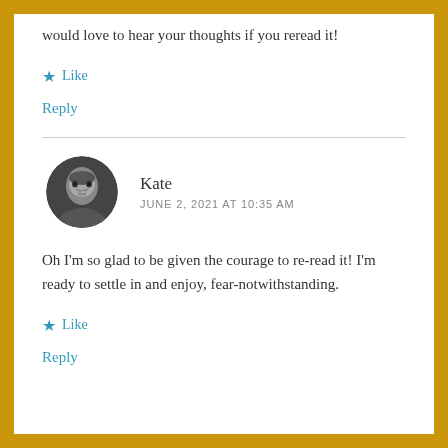would love to hear your thoughts if you reread it!
★ Like
Reply
Kate
JUNE 2, 2021 AT 10:35 AM
Oh I'm so glad to be given the courage to re-read it! I'm ready to settle in and enjoy, fear-notwithstanding.
★ Like
Reply